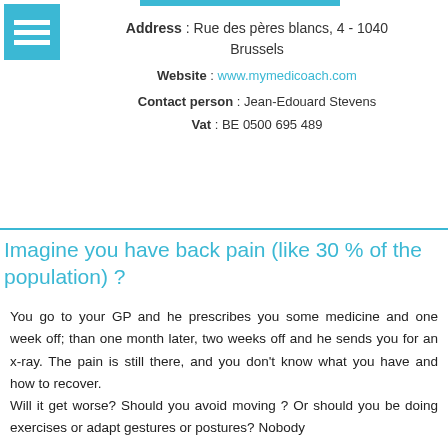[Figure (logo): Teal square logo with three white horizontal lines (hamburger menu icon)]
Address : Rue des pères blancs, 4 - 1040 Brussels
Website : www.mymedicoach.com
Contact person : Jean-Edouard Stevens
Vat : BE 0500 695 489
Imagine you have back pain (like 30 % of the population) ?
You go to your GP and he prescribes you some medicine and one week off; than one month later, two weeks off and he sends you for an x-ray. The pain is still there, and you don't know what you have and how to recover.
Will it get worse? Should you avoid moving ? Or should you be doing exercises or adapt gestures or postures? Nobody